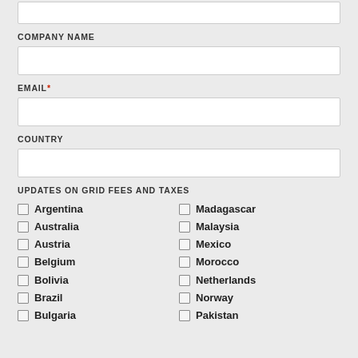(input box top - partial)
COMPANY NAME
EMAIL*
COUNTRY
UPDATES ON GRID FEES AND TAXES
Argentina
Australia
Austria
Belgium
Bolivia
Brazil
Bulgaria
Madagascar
Malaysia
Mexico
Morocco
Netherlands
Norway
Pakistan